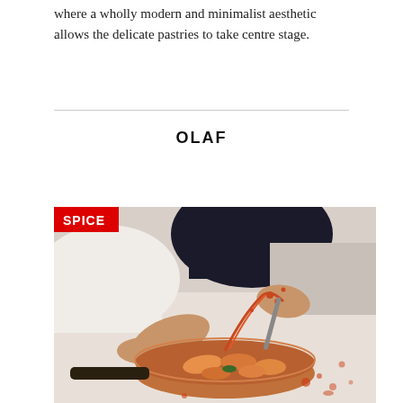where a wholly modern and minimalist aesthetic allows the delicate pastries to take centre stage.
OLAF
[Figure (photo): Chef's hands cooking pasta in a copper pan with tomato sauce splashing, with a red 'SPICE' label overlay in the top-left corner]